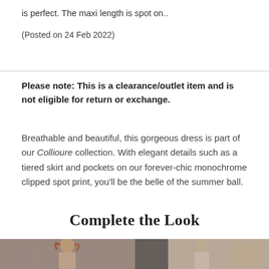is perfect. The maxi length is spot on..
(Posted on 24 Feb 2022)
Please note: This is a clearance/outlet item and is not eligible for return or exchange.
Breathable and beautiful, this gorgeous dress is part of our Collioure collection. With elegant details such as a tiered skirt and pockets on our forever-chic monochrome clipped spot print, you'll be the belle of the summer ball.
Complete the Look
[Figure (photo): Fashion photo of a woman with red hair, left panel]
[Figure (photo): Fashion photo of a person, right panel]